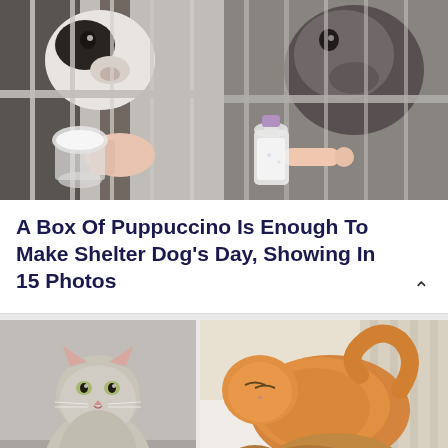[Figure (photo): Two shelter dogs behind cage bars being offered puppuccinos (whipped cream in cups) through the bars. Left dog is white/black, right dog is grey/dark. Two-panel split photo.]
A Box Of Puppuccino Is Enough To Make Shelter Dog's Day, Showing In 15 Photos
[Figure (photo): Left: A grey and brown tabby cat sitting and looking at camera. Right: An orange/ginger cat curled up sleeping on top of brown/golden puppies on a white blanket.]